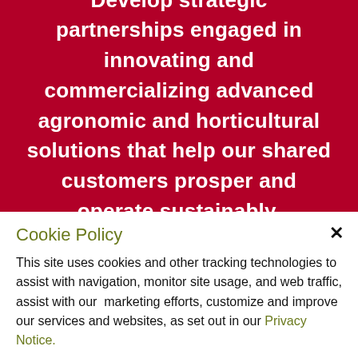Develop strategic partnerships engaged in innovating and commercializing advanced agronomic and horticultural solutions that help our shared customers prosper and operate sustainably.
Cookie Policy
This site uses cookies and other tracking technologies to assist with navigation, monitor site usage, and web traffic, assist with our marketing efforts, customize and improve our services and websites, as set out in our Privacy Notice.